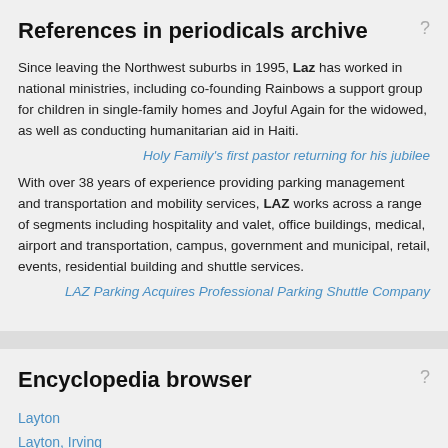References in periodicals archive
Since leaving the Northwest suburbs in 1995, Laz has worked in national ministries, including co-founding Rainbows a support group for children in single-family homes and Joyful Again for the widowed, as well as conducting humanitarian aid in Haiti.
Holy Family's first pastor returning for his jubilee
With over 38 years of experience providing parking management and transportation and mobility services, LAZ works across a range of segments including hospitality and valet, office buildings, medical, airport and transportation, campus, government and municipal, retail, events, residential building and shuttle services.
LAZ Parking Acquires Professional Parking Shuttle Company
Encyclopedia browser
Layton
Layton, Irving
Layton, Jack